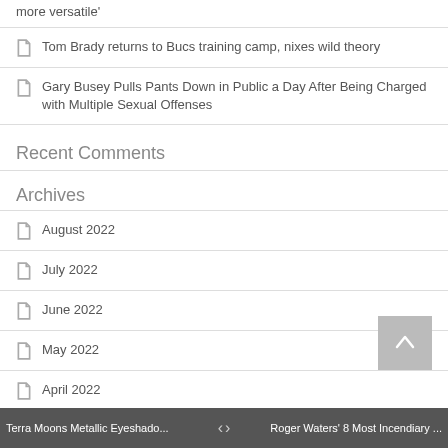more versatile'
Tom Brady returns to Bucs training camp, nixes wild theory
Gary Busey Pulls Pants Down in Public a Day After Being Charged with Multiple Sexual Offenses
Recent Comments
Archives
August 2022
July 2022
June 2022
May 2022
April 2022
March 2022
February 2022
Terra Moons Metallic Eyeshado...   <   >   Roger Waters' 8 Most Incendiary ...